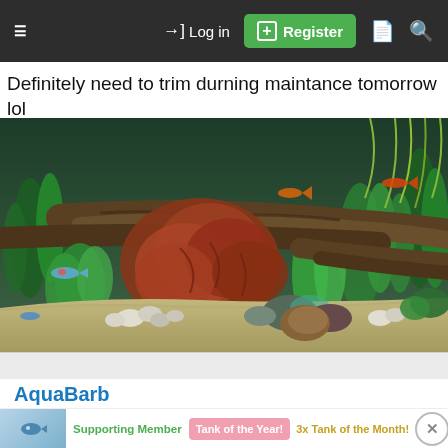☰  → Log in  ⊞ Register  🗋  🔍
Definitely need to trim durning maintance tomorrow lol 😵
[Figure (photo): Planted freshwater aquarium with reddish-brown aquatic plants (likely Barclaya longifolia or similar), driftwood, green stem plants, pebbles and sand substrate, with small colorful fish (neon tetras/guppies) visible in the water]
AquaBarb
Supporting Member  Tank of the Year!  3x Tank of the Month!  ✕